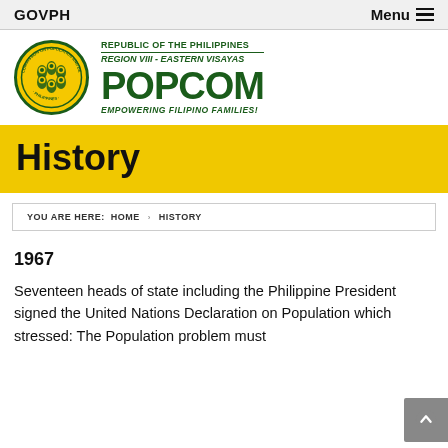GOVPH   Menu
[Figure (logo): POPCOM Region VIII - Eastern Visayas official seal and logo with text: REPUBLIC OF THE PHILIPPINES, REGION VIII - EASTERN VISAYAS, POPCOM, EMPOWERING FILIPINO FAMILIES!]
History
YOU ARE HERE:  HOME  ›  HISTORY
1967
Seventeen heads of state including the Philippine President signed the United Nations Declaration on Population which stressed: The Population problem must